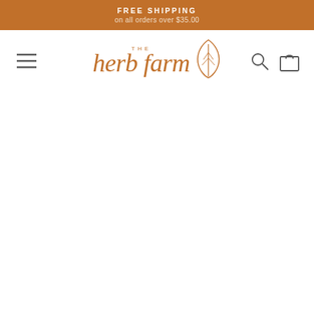FREE SHIPPING on all orders over $35.00
[Figure (logo): The Herb Farm logo with stylized script text and a leaf icon in terracotta/orange color]
[Figure (other): Navigation icons: hamburger menu (left), search icon and shopping bag icon (right)]